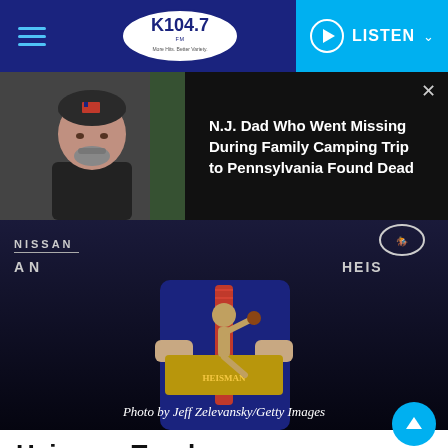K104.7 FM | LISTEN
[Figure (photo): Man in black cap and black shirt, N.J. Dad Who Went Missing During Family Camping Trip to Pennsylvania Found Dead]
[Figure (photo): Heisman Trophy Presentation press conference photo, person holding trophy, Photo by Jeff Zelevansky/Getty Images, Nissan and Heisman branding visible]
Heisman Trophy Presentation – Press Conference
Share
NEW YORK, NY - DECEMBER 09: Baker